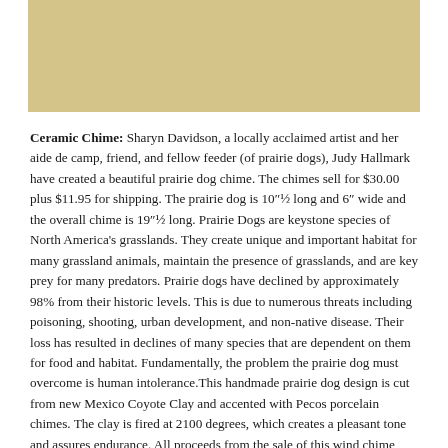[Figure (other): Tan/beige colored rectangular banner area at the top of the page]
Ceramic Chime: Sharyn Davidson, a locally acclaimed artist and her aide de camp, friend, and fellow feeder (of prairie dogs), Judy Hallmark have created a beautiful prairie dog chime.  The chimes sell for $30.00 plus $11.95 for shipping.  The prairie dog is 10"½ long and 6” wide and the overall chime is 19"½ long. Prairie Dogs are keystone species of North America’s grasslands.  They create unique and important habitat for many grassland animals, maintain the presence of grasslands, and are key prey for many predators.  Prairie dogs have declined by approximately 98% from their historic levels.  This is due to numerous threats including poisoning, shooting, urban development, and non-native disease.  Their loss has resulted in declines of many species that are dependent on them for food and habitat.  Fundamentally, the problem the prairie dog must overcome is human intolerance.This handmade prairie dog design is cut from new Mexico Coyote Clay and accented with Pecos porcelain chimes.  The clay is fired at 2100 degrees, which creates a pleasant tone and assures endurance.  All proceeds from the sale of this wind chime benefit the non-profit organization Prairie Dog Pals and prairie dogs